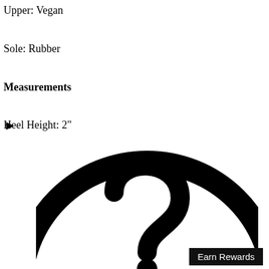Upper: Vegan
Sole: Rubber
Measurements
Heel Height: 2"
▶
[Figure (illustration): Large question mark icon inside a circle, partially cropped at the bottom of the page.]
Earn Rewards